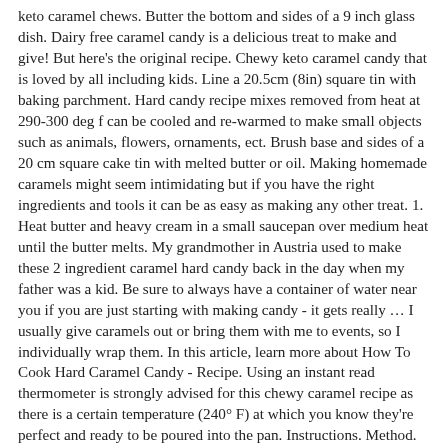keto caramel chews. Butter the bottom and sides of a 9 inch glass dish. Dairy free caramel candy is a delicious treat to make and give! But here's the original recipe. Chewy keto caramel candy that is loved by all including kids. Line a 20.5cm (8in) square tin with baking parchment. Hard candy recipe mixes removed from heat at 290-300 deg f can be cooled and re-warmed to make small objects such as animals, flowers, ornaments, ect. Brush base and sides of a 20 cm square cake tin with melted butter or oil. Making homemade caramels might seem intimidating but if you have the right ingredients and tools it can be as easy as making any other treat. 1. Heat butter and heavy cream in a small saucepan over medium heat until the butter melts. My grandmother in Austria used to make these 2 ingredient caramel hard candy back in the day when my father was a kid. Be sure to always have a container of water near you if you are just starting with making candy - it gets really … I usually give caramels out or bring them with me to events, so I individually wrap them. In this article, learn more about How To Cook Hard Caramel Candy - Recipe. Using an instant read thermometer is strongly advised for this chewy caramel recipe as there is a certain temperature (240° F) at which you know they're perfect and ready to be poured into the pan. Instructions. Method. Cut into desired shape with a sharp knife. This candy is not hard to make, whether you're making soft candy or hard candy. Sorry for the confusion. Line a metal cookie sheet with foil and lightly spray with cooking spray (such as PAM). But